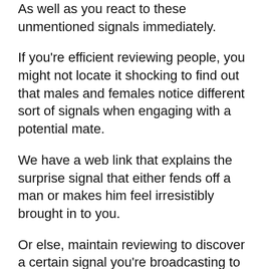As well as you react to these unmentioned signals immediately.
If you're efficient reviewing people, you might not locate it shocking to find out that males and females notice different sort of signals when engaging with a potential mate.
We have a web link that explains the surprise signal that either fends off a man or makes him feel irresistibly brought in to you.
Or else, maintain reviewing to discover a certain signal you're broadcasting to guys at all times (whether you know it or otherwise).
It's most likely not what you would